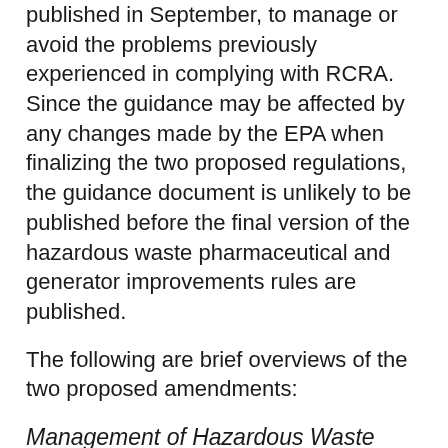published in September, to manage or avoid the problems previously experienced in complying with RCRA.  Since the guidance may be affected by any changes made by the EPA when finalizing the two proposed regulations, the guidance document is unlikely to be published before the final version of the hazardous waste pharmaceutical and generator improvements rules are published.
The following are brief overviews of the two proposed amendments:
Management of Hazardous Waste Pharmaceuticals
The hazardous waste pharmaceutical proposal applies only to health care facilities and pharmaceutical reverse distributors. Any other generator that has to deal with pharmaceutical waste would be required to characterize and manage that waste without the benefit of the new flexibility